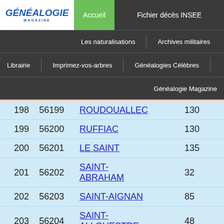[Figure (screenshot): Généalogie Magazine website navigation header with logo, Accueil (green), Fichier décès INSEE, Les naturalisations, Archives militaires, Librairie, Imprimez-vos-arbres, Généalogies Célèbres, Généalogie Magazine menu items]
| 198 | 56199 | ROUDOUALLEC | 130 |
| 199 | 56200 | RUFFIAC | 130 |
| 200 | 56201 | LE SAINT | 135 |
| 201 | 56202 | SAINT-ABRAHAM | 32 |
| 202 | 56203 | SAINT-AIGNAN | 85 |
| 203 | 56204 | SAINT-ALLOUESTRE | 48 |
| 204 | 56205 | SAINT-ARMEL | 51 |
| 205 | 56206 | SAINT-AVE | 1833 |
| 206 | 56207 | SAINT-BARTHÉLEMY | 142 |